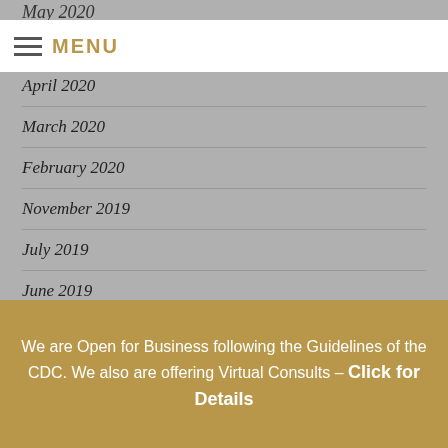May 2020
MENU
April 2020
March 2020
February 2020
November 2019
July 2019
June 2019
April 2019
March 2019
We are Open for Business following the Guidelines of the CDC. We also are offering Virtual Consults – Click for Details